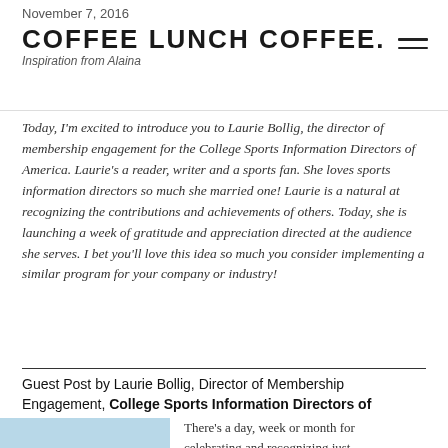November 7, 2016 | COFFEE LUNCH COFFEE. | Inspiration from Alaina
Today, I'm excited to introduce you to Laurie Bollig, the director of membership engagement for the College Sports Information Directors of America. Laurie's a reader, writer and a sports fan. She loves sports information directors so much she married one!  Laurie is a natural at recognizing the contributions and achievements of others.  Today, she is launching a week of gratitude and appreciation directed at the audience she serves.  I bet you'll love this idea so much you consider implementing a similar program for your company or industry!
Guest Post by Laurie Bollig, Director of Membership Engagement, College Sports Information Directors of America (CoSIDA)
[Figure (photo): Portrait photo of Laurie Bollig with blonde hair against a light blue background]
There's a day, week or month for celebrating and recognizing just